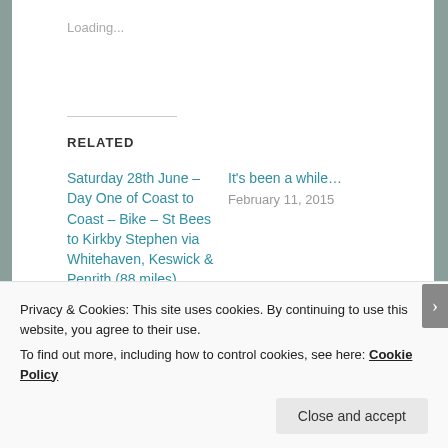Loading...
RELATED
Saturday 28th June – Day One of Coast to Coast – Bike – St Bees to Kirkby Stephen via Whitehaven, Keswick & Penrith (88 miles)
June 29, 2014
In "Actual Event"
It's been a while…
February 11, 2015
Privacy & Cookies: This site uses cookies. By continuing to use this website, you agree to their use.
To find out more, including how to control cookies, see here: Cookie Policy